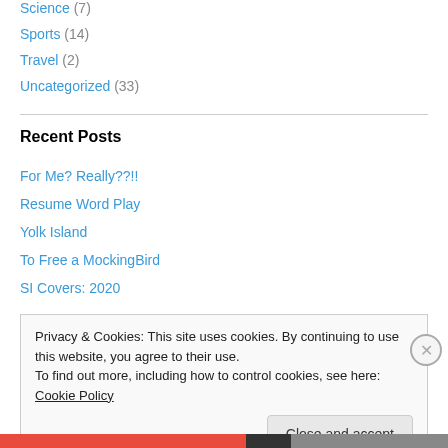Science (7)
Sports (14)
Travel (2)
Uncategorized (33)
Recent Posts
For Me? Really??!!
Resume Word Play
Yolk Island
To Free a MockingBird
SI Covers: 2020
Privacy & Cookies: This site uses cookies. By continuing to use this website, you agree to their use.
To find out more, including how to control cookies, see here: Cookie Policy